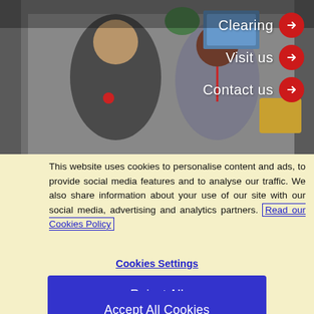[Figure (photo): Two students sitting and talking in a casual university setting, one wearing a lanyard/badge. Navigation buttons for Clearing, Visit us, and Contact us are overlaid on the top right with red circular arrow icons.]
This website uses cookies to personalise content and ads, to provide social media features and to analyse our traffic. We also share information about your use of our site with our social media, advertising and analytics partners. Read our Cookies Policy
Cookies Settings
Reject All
Accept All Cookies